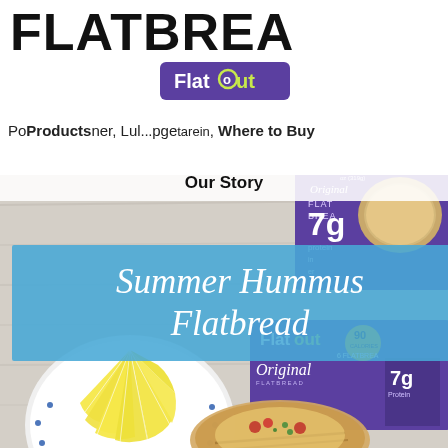FLATBREA
[Figure (logo): Flatout brand logo — white text on purple rounded rectangle background with lime green accent]
Products   [Lulu...] vegetarian,   Where to Buy   Our Story
[Figure (photo): Food photography showing Flatout Original Flatbread packaging (purple, 90 calories, 7g protein, 6 flatbreads), a blue and white dotted plate with lemon wedges, flatbread with hummus and tomato toppings, on a rustic white wood surface. Overlaid with a blue semi-transparent box reading 'Summer Hummus Flatbread'.]
Summer Hummus Flatbread